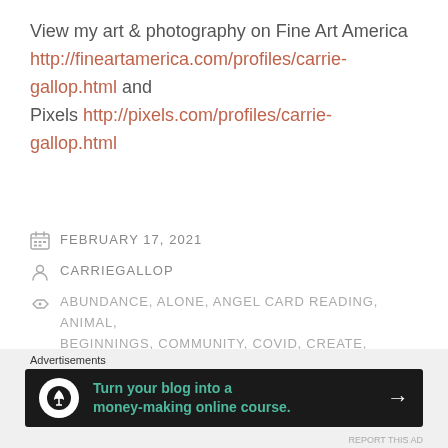View my art & photography on Fine Art America http://fineartamerica.com/profiles/carrie-gallop.html and Pixels http://pixels.com/profiles/carrie-gallop.html
FEBRUARY 17, 2021
CARRIEGALLOP
ABUNDANCE, ALONE, ANGEL CARD READING, ANIMAL, BEGINNINGS, COMMUNITY, COVID, CREATE, CREATION, CREATIVITY, DREAM, FAMILY, FRIENDSHIPS, GOALS, IDEAS, INCOME, INTELLIGENCE, INTUITION, LOVE, LUCKY, MANIFEST, MANIFESTING, MIND, MINDSET, NEGATIVITY,
Advertisements
[Figure (infographic): Advertisement banner with dark background reading 'Turn your blog into a money-making online course.' with a tree/person icon and arrow.]